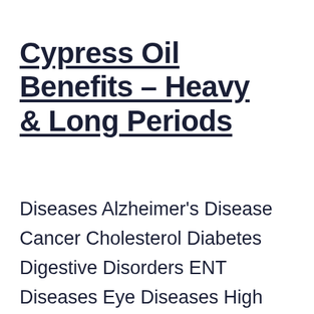Cypress Oil Benefits – Heavy & Long Periods
Diseases Alzheimer's Disease Cancer Cholesterol Diabetes Digestive Disorders ENT Diseases Eye Diseases High Blood Pressure Insomnia Migraine Prostate Problems Stress Women's Health Care Acne Body Care Face Care Hair Care Weight Loss Therapies E-books Herbal Remedies News Pregnancy Get Pregnant Faster X Cypress Oil Benefits – Heavy & Long Periods Do you suffer